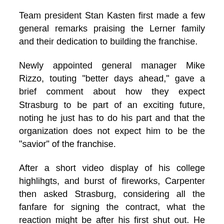Team president Stan Kasten first made a few general remarks praising the Lerner family and their dedication to building the franchise.
Newly appointed general manager Mike Rizzo, touting "better days ahead," gave a brief comment about how they expect Strasburg to be part of an exciting future, noting he just has to do his part and that the organization does not expect him to be the "savior" of the franchise.
After a short video display of his college highlihgts, and burst of fireworks, Carpenter then asked Strasburg, considering all the fanfare for signing the contract, what the reaction might be after his first shut out. He replied, "Maybe a flyover from Air Force One?"
Ryan Zimmerman then took the stage and presented Strasburg with a crisp, home-white No. 37 jersey. Third